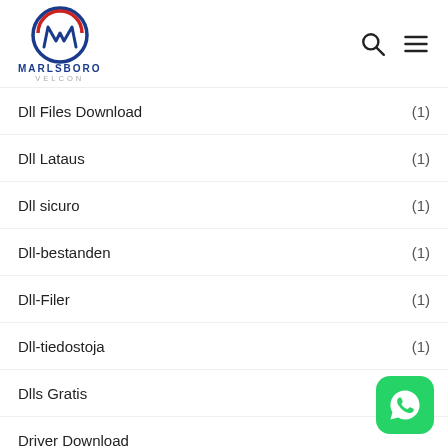Marlsboro Velcon logo with search and menu icons
Dll Files Download (1)
Dll Lataus (1)
Dll sicuro (1)
Dll-bestanden (1)
Dll-Filer (1)
Dll-tiedostoja (1)
Dlls Gratis (1)
Driver Download